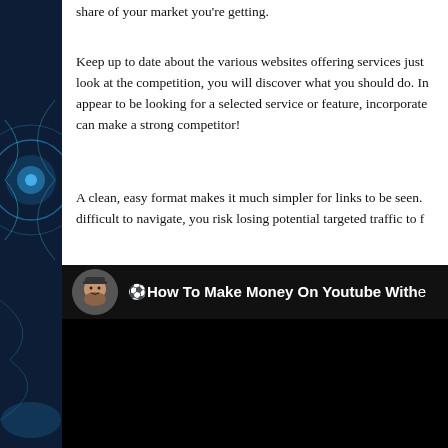share of your market you're getting.
Keep up to date about the various websites offering services just look at the competition, you will discover what you should do. If appear to be looking for a selected service or feature, incorporate can make a strong competitor!
A clean, easy format makes it much simpler for links to be seen. difficult to navigate, you risk losing potential targeted traffic to f
Design your own videos of yourself describing your merchandise
[Figure (screenshot): YouTube video thumbnail with dark background. Shows a circular avatar of a bearded man on the left, and white text reading '⚽How To Make Money On Youtube Withe' on a black background.]